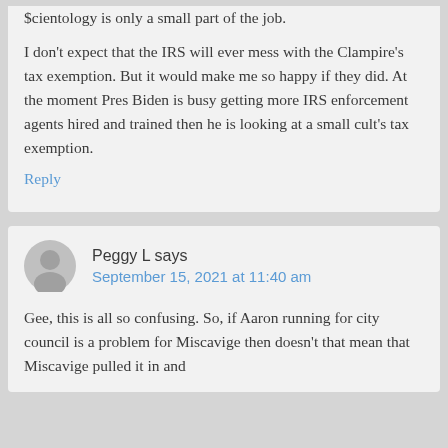$cientology is only a small part of the job.

I don't expect that the IRS will ever mess with the Clampire's tax exemption. But it would make me so happy if they did. At the moment Pres Biden is busy getting more IRS enforcement agents hired and trained then he is looking at a small cult's tax exemption.
Reply
Peggy L says
September 15, 2021 at 11:40 am
Gee, this is all so confusing. So, if Aaron running for city council is a problem for Miscavige then doesn't that mean that Miscavige pulled it in and